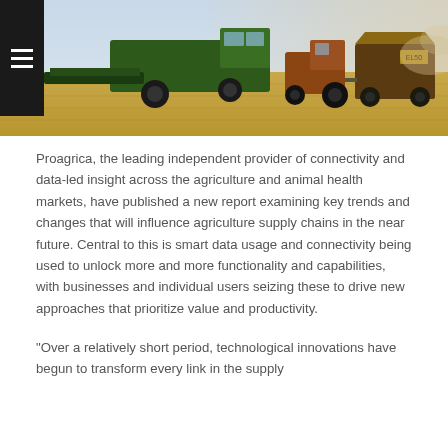[Figure (photo): Agricultural scene showing a green combine harvester and a tractor with grain cart working in a golden wheat field. Blue sky visible in background.]
Proagrica, the leading independent provider of connectivity and data-led insight across the agriculture and animal health markets, have published a new report examining key trends and changes that will influence agriculture supply chains in the near future. Central to this is smart data usage and connectivity being used to unlock more and more functionality and capabilities, with businesses and individual users seizing these to drive new approaches that prioritize value and productivity.
“Over a relatively short period, technological innovations have begun to transform every link in the supply